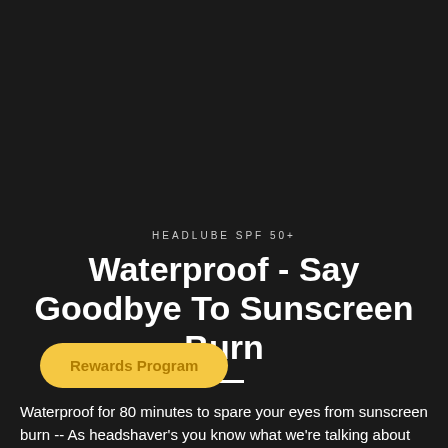HEADLUBE SPF 50+
Waterproof - Say Goodbye To Sunscreen Burn
Waterproof for 80 minutes to spare your eyes from sunscreen burn -- As headshaver's you know what we're talking about (In case you didn't bring your headband to your workout, we have you covered)
Rewards Program